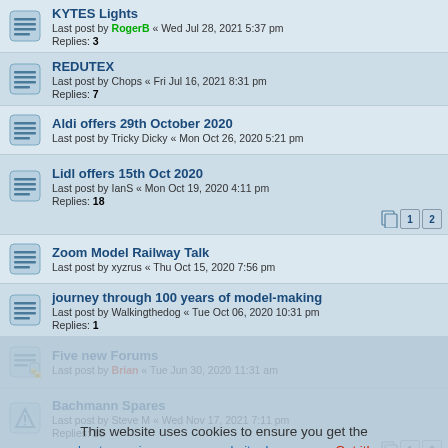KYTES Lights
Last post by RogerB « Wed Jul 28, 2021 5:37 pm
Replies: 3
REDUTEX
Last post by Chops « Fri Jul 16, 2021 8:31 pm
Replies: 7
Aldi offers 29th October 2020
Last post by Tricky Dicky « Mon Oct 26, 2020 5:21 pm
Lidl offers 15th Oct 2020
Last post by IanS « Mon Oct 19, 2020 4:11 pm
Replies: 18
Zoom Model Railway Talk
Last post by xyzrus « Thu Oct 15, 2020 7:56 pm
journey through 100 years of model-making
Last post by Walkingthedog « Tue Oct 06, 2020 10:31 pm
Replies: 1
Five new Forums
Last post by Brian « Tue Jun 30, 2020 11:31 am
Bachmann Spares
Last post by Steve M « Wed Nov 17, 2021 7:11 pm
Replies: 16
Aldi small drills offer
Last post by Tricky Dicky « Thu May 21, 2020 12:57 pm
Replies: 22
This website uses cookies to ensure you get the best experience on our website. Learn more Got it!